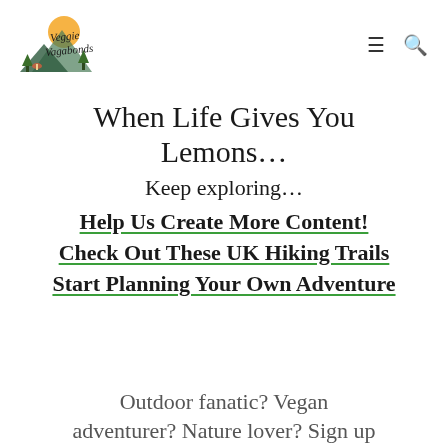[Figure (logo): Veggie Vagabonds logo with illustrated mountain and nature scene, hand-lettered text]
When Life Gives You Lemons…
Keep exploring…
Help Us Create More Content!
Check Out These UK Hiking Trails
Start Planning Your Own Adventure
Outdoor fanatic? Vegan adventurer? Nature lover? Sign up